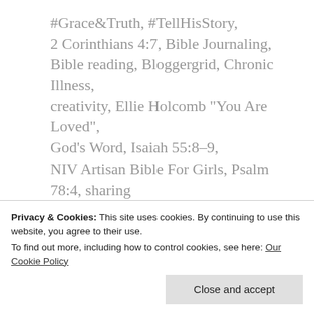#Grace&Truth, #TellHisStory, 2 Corinthians 4:7, Bible Journaling, Bible reading, Bloggergrid, Chronic Illness, creativity, Ellie Holcomb "You Are Loved", God's Word, Isaiah 55:8–9, NIV Artisan Bible For Girls, Psalm 78:4, sharing
Published by Bettie G
Jesus follower. Wife. Mom. and
[Figure (photo): Circular avatar photo of an older woman with gray hair, outdoors with greenery in background]
Privacy & Cookies: This site uses cookies. By continuing to use this website, you agree to their use.
To find out more, including how to control cookies, see here: Our Cookie Policy